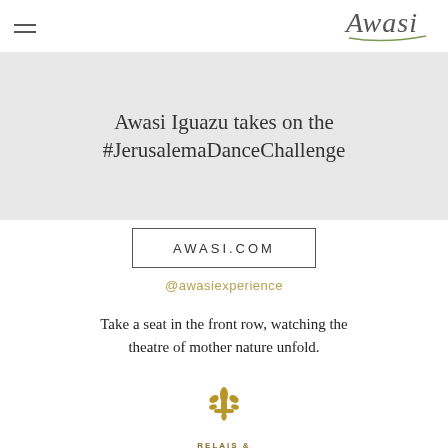Awasi
Awasi Iguazu takes on the #JerusalemaDanceChallenge
AWASI.COM
@awasiexperience
Take a seat in the front row, watching the theatre of mother nature unfold.
[Figure (logo): Relais & Chateaux fleur-de-lis logo in gold with text RELAIS & CHATEAUX below]
SHARE